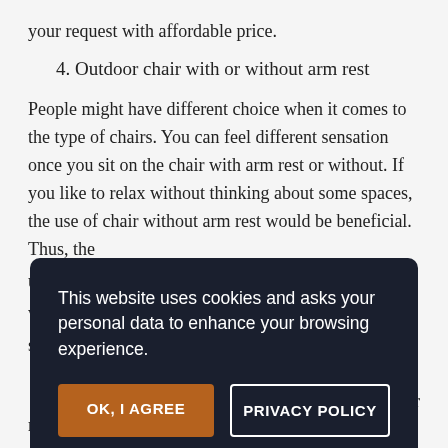your request with affordable price.
4. Outdoor chair with or without arm rest
People might have different choice when it comes to the type of chairs. You can feel different sensation once you sit on the chair with arm rest or without. If you like to relax without thinking about some spaces, the use of chair without arm rest would be beneficial. Thus, the
This website uses cookies and asks your personal data to enhance your browsing experience.
OK, I AGREE
PRIVACY POLICY
removeable chair always help you to enjoy your